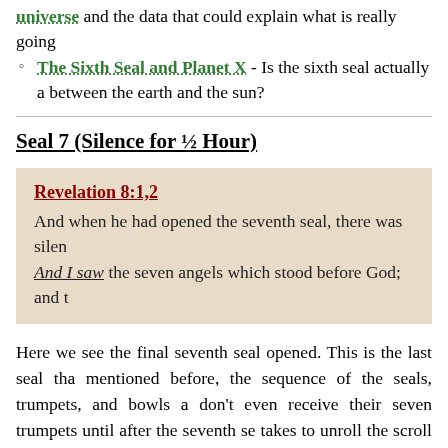universe and the data that could explain what is really going
The Sixth Seal and Planet X - Is the sixth seal actually a between the earth and the sun?
Seal 7 (Silence for ½ Hour)
Revelation 8:1,2
And when he had opened the seventh seal, there was silen
And I saw the seven angels which stood before God; and t
Here we see the final seventh seal opened. This is the last seal tha mentioned before, the sequence of the seals, trumpets, and bowls a don't even receive their seven trumpets until after the seventh se takes to unroll the scroll and give out the trumpets to the seven an other words, the sixth seal and God's wrath will most likely happe the people of earth could see God's wrath coming if it is supposed hour at the least.